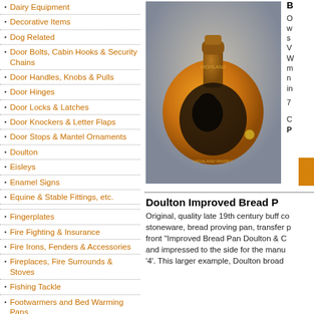Dairy Equipment
Decorative Items
Dog Related
Door Bolts, Cabin Hooks & Security Chains
Door Handles, Knobs & Pulls
Door Hinges
Door Locks & Latches
Door Knockers & Letter Flaps
Door Stops & Mantel Ornaments
Doulton
Eisleys
Enamel Signs
Equine & Stable Fittings, etc.
Fingerplates
Fire Fighting & Insurance
Fire Irons, Fenders & Accessories
Fireplaces, Fire Surrounds & Stoves
Fishing Tackle
Footwarmers and Bed Warming Pans
Furniture
Furniture Handles and Fittings
[Figure (photo): Stoneware jug/bottle with orange-brown glaze, black bear or animal transfer print decoration, with text reading 'HIGHLAND WHISKY']
Original, quality late 19th century buff coloured stoneware, bread proving pan, transfer printed to front "Improved Bread Pan Doulton & Co" and impressed to the side for the manufacturer '4'. This larger example, Doulton broad...
Doulton Improved Bread P...